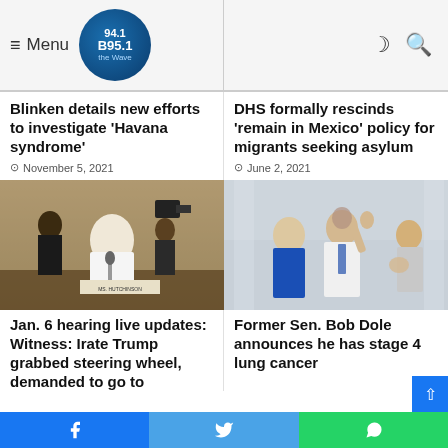Menu | 94.1 B 95.1 The Wave
Blinken details new efforts to investigate 'Havana syndrome'
November 5, 2021
DHS formally rescinds 'remain in Mexico' policy for migrants seeking asylum
June 2, 2021
[Figure (photo): Woman in white jacket seated at hearing table with nameplate reading Ms. Hutchinson, cameras and people in background]
[Figure (photo): Former Senator Bob Dole waving, surrounded by people including a woman in blue jacket, at a formal outdoor event]
Jan. 6 hearing live updates: Witness: Irate Trump grabbed steering wheel, demanded to go to
Former Sen. Bob Dole announces he has stage 4 lung cancer
Facebook | Twitter | WhatsApp share buttons